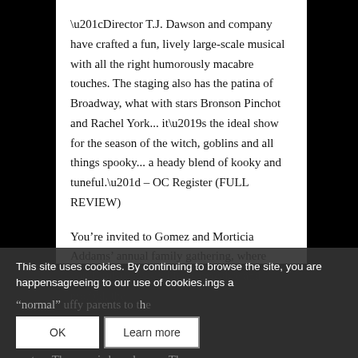“Director T.J. Dawson and company have crafted a fun, lively large-scale musical with all the right humorously macabre touches. The staging also has the patina of Broadway, what with stars Bronson Pinchot and Rachel York... it’s the ideal show for the season of the witch, goblins and all things spooky... a heady blend of kooky and tuneful.” – OC Register (FULL REVIEW)
You’re invited to Gomez and Morticia Addams’ annual family gathering, where you’ll rub elbows with the macabre and morbid, the happens... ings a “normal” uffy parents to the party....Th is based upon The
This site uses cookies. By continuing to browse the site, you are agreeing to our use of cookies.